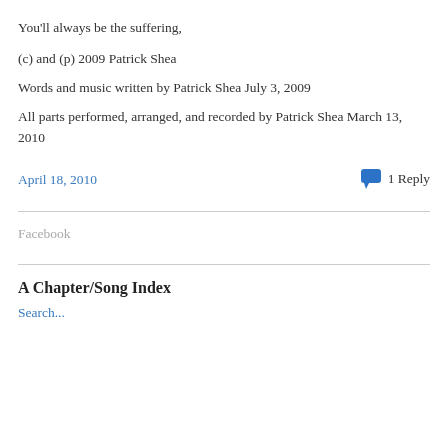You'll always be the suffering,
(c) and (p) 2009 Patrick Shea
Words and music written by Patrick Shea July 3, 2009
All parts performed, arranged, and recorded by Patrick Shea March 13, 2010
April 18, 2010
1 Reply
Facebook
A Chapter/Song Index
Search...